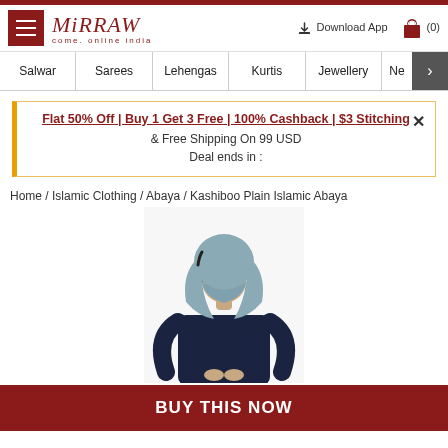[Figure (logo): Mirraw logo with hamburger menu icon on dark red background, tagline 'come online india', download app link and cart icon]
Salwar | Sarees | Lehengas | Kurtis | Jewellery | Ne >
Flat 50% Off | Buy 1 Get 3 Free | 100% Cashback | $3 Stitching & Free Shipping On 99 USD Deal ends in :
Home / Islamic Clothing / Abaya / Kashiboo Plain Islamic Abaya
[Figure (photo): Woman wearing navy blue Islamic Abaya with grey hijab and sunglasses]
BUY THIS NOW